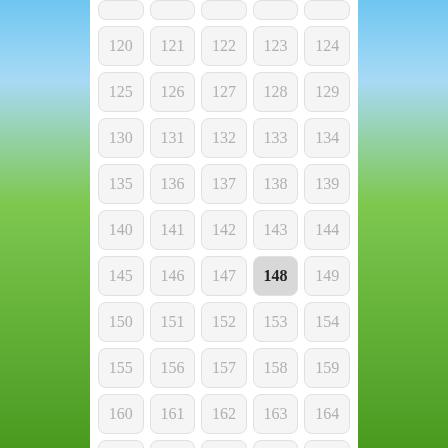[Figure (other): Number grid selector showing cells 120-169 and partial rows above and below, with cell 148 highlighted in dark grey. Background shows a blue sky and green grass landscape.]
| 120 | 121 | 122 | 123 | 124 |
| 125 | 126 | 127 | 128 | 129 |
| 130 | 131 | 132 | 133 | 134 |
| 135 | 136 | 137 | 138 | 139 |
| 140 | 141 | 142 | 143 | 144 |
| 145 | 146 | 147 | 148 | 149 |
| 150 | 151 | 152 | 153 | 154 |
| 155 | 156 | 157 | 158 | 159 |
| 160 | 161 | 162 | 163 | 164 |
| 165 | 166 | 167 | 168 | 169 |